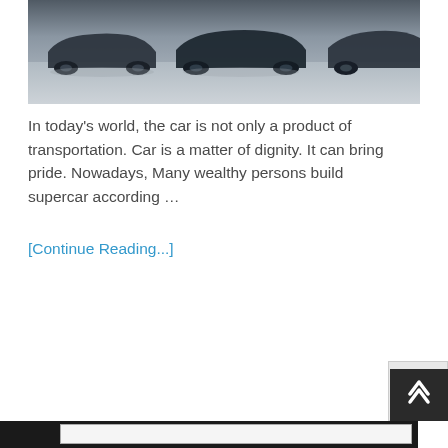[Figure (photo): Partial photograph of toy or model cars on a gray surface, showing the lower/undercarriage portion of dark-colored vehicles against a light gray background.]
In today's world, the car is not only a product of transportation. Car is a matter of dignity. It can bring pride. Nowadays, Many wealthy persons build supercar according …
[Continue Reading...]